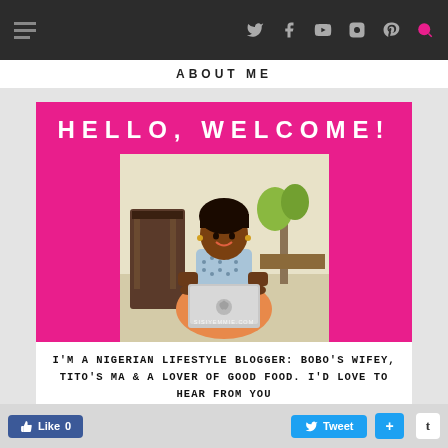ABOUT ME
[Figure (photo): About Me page of a Nigerian lifestyle blogger. Pink banner reading HELLO, WELCOME! above a photo of a smiling woman seated with a laptop, with a yellow/lime section below. Text: I'M A NIGERIAN LIFESTYLE BLOGGER: BOBO'S WIFEY, TITO'S MA & A LOVER OF GOOD FOOD. I'D LOVE TO HEAR FROM YOU]
I'M A NIGERIAN LIFESTYLE BLOGGER: BOBO'S WIFEY, TITO'S MA & A LOVER OF GOOD FOOD. I'D LOVE TO HEAR FROM YOU
Like 0   Tweet   +   t